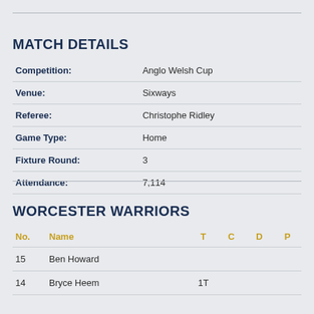MATCH DETAILS
|  |  |
| --- | --- |
| Competition: | Anglo Welsh Cup |
| Venue: | Sixways |
| Referee: | Christophe Ridley |
| Game Type: | Home |
| Fixture Round: | 3 |
| Attendance: | 7,114 |
WORCESTER WARRIORS
| No. | Name | T | C | D | P |
| --- | --- | --- | --- | --- | --- |
| 15 | Ben Howard |  |  |  |  |
| 14 | Bryce Heem | 1T |  |  |  |